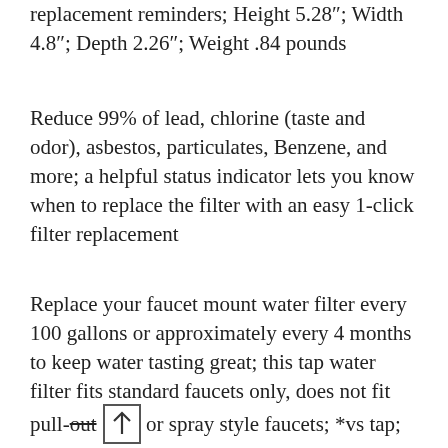replacement reminders; Height 5.28"; Width 4.8"; Depth 2.26"; Weight .84 pounds
Reduce 99% of lead, chlorine (taste and odor), asbestos, particulates, Benzene, and more; a helpful status indicator lets you know when to replace the filter with an easy 1-click filter replacement
Replace your faucet mount water filter every 100 gallons or approximately every 4 months to keep water tasting great; this tap water filter fits standard faucets only, does not fit pull-out or spray style faucets; *vs tap; **16.9 oz water bottle